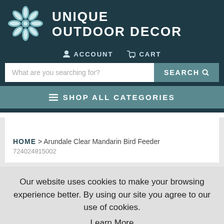[Figure (logo): Unique Outdoor Decor logo: a stylized snowflake/flower in teal and white]
UNIQUE OUTDOOR DECOR
ACCOUNT   CART
What are you searching for?   SEARCH
≡ SHOP ALL CATEGORIES
HOME > Arundale Clear Mandarin Bird Feeder
724024915002
Our website uses cookies to make your browsing experience better. By using our site you agree to our use of cookies.
Learn More
I Agree